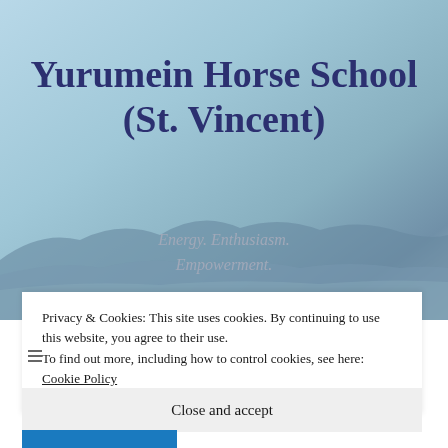[Figure (illustration): Light blue watercolor-style hero background with mountain/landscape silhouette at the bottom]
Yurumein Horse School (St. Vincent)
Energy. Enthusiasm. Empowerment.
Privacy & Cookies: This site uses cookies. By continuing to use this website, you agree to their use.
To find out more, including how to control cookies, see here: Cookie Policy
Close and accept